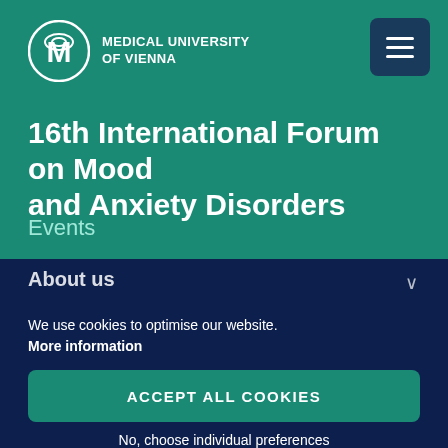[Figure (logo): Medical University of Vienna logo — circular emblem with stylized 'M' design in white on teal background, next to text 'MEDICAL UNIVERSITY OF VIENNA']
16th International Forum on Mood and Anxiety Disorders
Events
About us
We use cookies to optimise our website. More information
ACCEPT ALL COOKIES
No, choose individual preferences